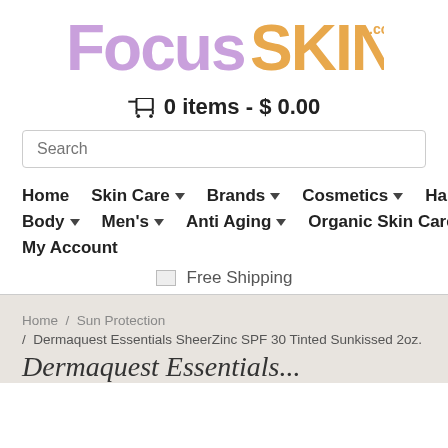[Figure (logo): FocusSkin.com logo — 'Focus' in purple/lavender bold, 'SKIN' in orange bold, '.com' superscript in orange]
🛒 0 items - $ 0.00
Search (input placeholder)
Home  Skin Care ▾  Brands ▾  Cosmetics ▾  Hair ▾  Body ▾  Men's ▾  Anti Aging ▾  Organic Skin Care ▾  My Account
[Figure (illustration): Broken image icon followed by 'Free Shipping' text]
Home / Sun Protection / Dermaquest Essentials SheerZinc SPF 30 Tinted Sunkissed 2oz.
Dermaquest Essentials...